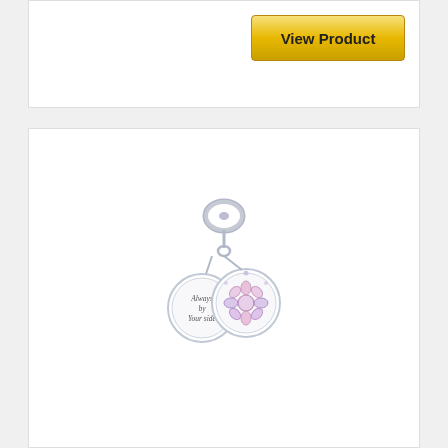[Figure (other): View Product button with gold gradient background]
[Figure (photo): Pandora silver charm pendant with two discs - one engraved 'Always by Your side' and one decorative with colorful flower/crystal design, attached to a bracelet clasp]